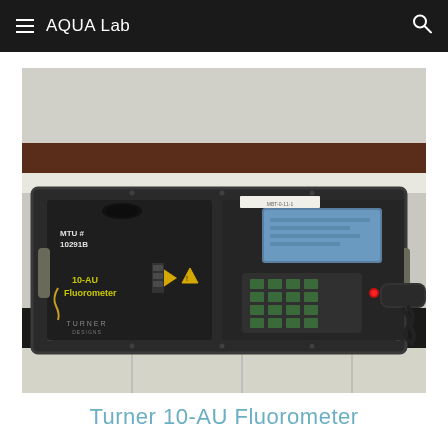AQUA Lab
[Figure (photo): Turner 10-AU Fluorometer instrument sitting on a laboratory bench. The device is a dark gray/black rectangular unit with a keypad, LCD screen, and connected cables. It has a label reading 'MTU # 10291B' and '10-AU Fluorometer' on the front, along with the Turner Designs logo.]
Turner 10-AU Fluorometer